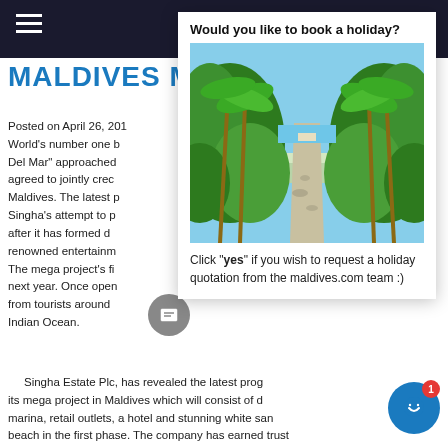MALDIVES M
Posted on April 26, 201   World's number one b   Del Mar" approached   agreed to jointly crec   Maldives. The latest p   Singha's attempt to p   after it has formed d   renowned entertainm   The mega project's fi   next year. Once open   from tourists around   Indian Ocean.
Would you like to book a holiday?
[Figure (photo): Tropical path lined with palm trees and lush green foliage leading to a beach with blue sky]
Click "yes" if you wish to request a holiday quotation from the maldives.com team :)
Singha Estate Plc, has revealed the latest prog   its mega project in Maldives which will consist of d   marina, retail outlets, a hotel and stunning white sand   beach in the first phase. The company has earned trust